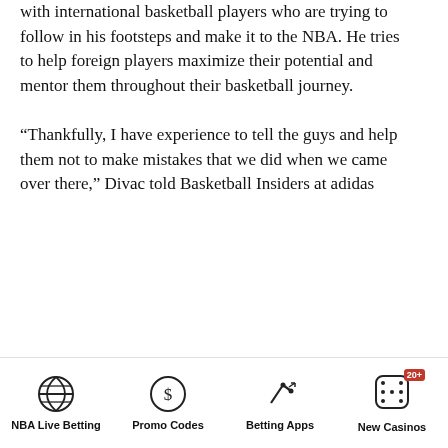with international basketball players who are trying to follow in his footsteps and make it to the NBA. He tries to help foreign players maximize their potential and mentor them throughout their basketball journey.

“Thankfully, I have experience to tell the guys and help them not to make mistakes that we did when we came over there,” Divac told Basketball Insiders at adidas
NBA Live Betting | Promo Codes | Betting Apps | New Casinos